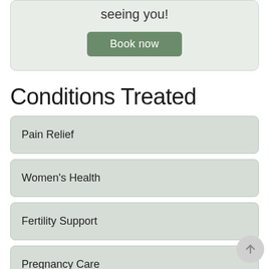seeing you!
Book now
Conditions Treated
Pain Relief
Women's Health
Fertility Support
Pregnancy Care